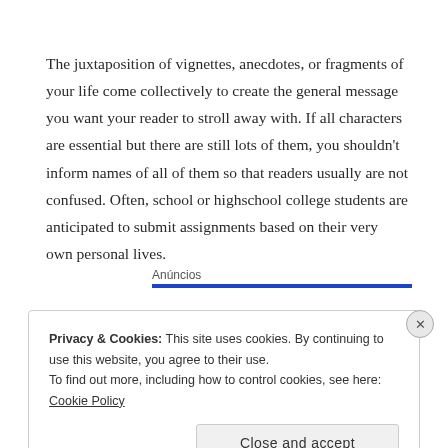The juxtaposition of vignettes, anecdotes, or fragments of your life come collectively to create the general message you want your reader to stroll away with. If all characters are essential but there are still lots of them, you shouldn't inform names of all of them so that readers usually are not confused. Often, school or highschool college students are anticipated to submit assignments based on their very own personal lives.
Anúncios
Privacy & Cookies: This site uses cookies. By continuing to use this website, you agree to their use.
To find out more, including how to control cookies, see here: Cookie Policy
Close and accept